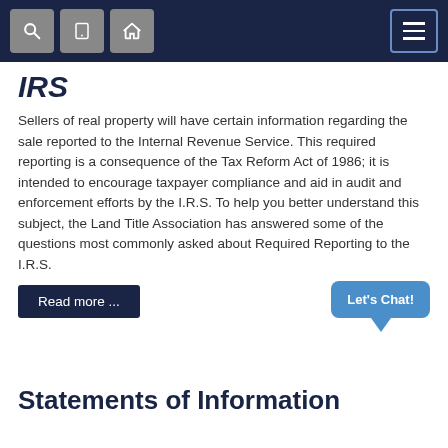Navigation bar with search, mobile, home icons and menu button
IRS
Sellers of real property will have certain information regarding the sale reported to the Internal Revenue Service. This required reporting is a consequence of the Tax Reform Act of 1986; it is intended to encourage taxpayer compliance and aid in audit and enforcement efforts by the I.R.S. To help you better understand this subject, the Land Title Association has answered some of the questions most commonly asked about Required Reporting to the I.R.S.
Read more ...
Let's Chat!
Statements of Information